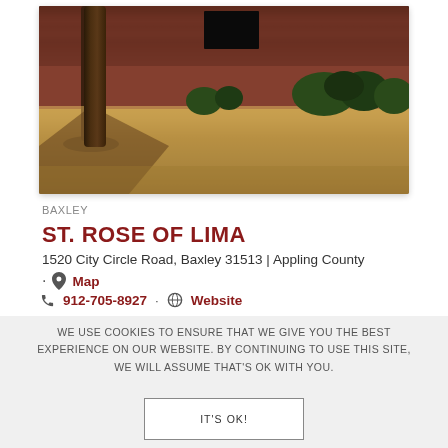[Figure (photo): Exterior photo of St. Rose of Lima church building — brick wall with bushes and a tree in the foreground, dry grass ground]
BAXLEY
ST. ROSE OF LIMA
1520 City Circle Road, Baxley 31513 | Appling County
· Map
912-705-8927 · Website
WE USE COOKIES TO ENSURE THAT WE GIVE YOU THE BEST EXPERIENCE ON OUR WEBSITE. BY CONTINUING TO USE THIS SITE, WE WILL ASSUME THAT'S OK WITH YOU.
IT'S OK!